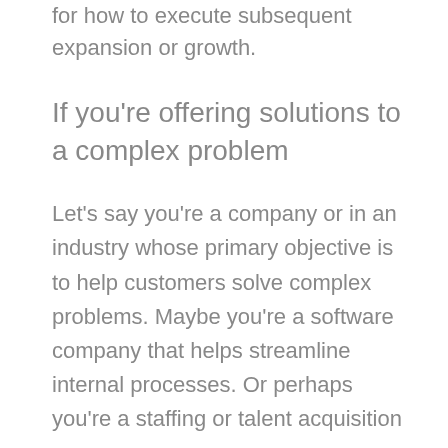for how to execute subsequent expansion or growth.
If you're offering solutions to a complex problem
Let's say you're a company or in an industry whose primary objective is to help customers solve complex problems. Maybe you're a software company that helps streamline internal processes. Or perhaps you're a staffing or talent acquisition